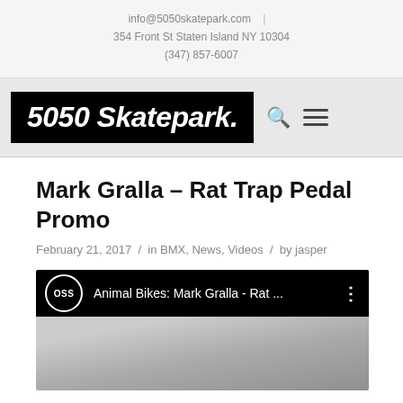info@5050skatepark.com | 354 Front St Staten Island NY 10304 | (347) 857-6007
[Figure (logo): 5050 Skatepark logo: white bold italic text on black background with search and hamburger menu icons]
Mark Gralla – Rat Trap Pedal Promo
February 21, 2017  /  in BMX, News, Videos  /  by jasper
[Figure (screenshot): YouTube video embed showing OSS channel with title 'Animal Bikes: Mark Gralla - Rat ...' and a preview of a BMX rider]